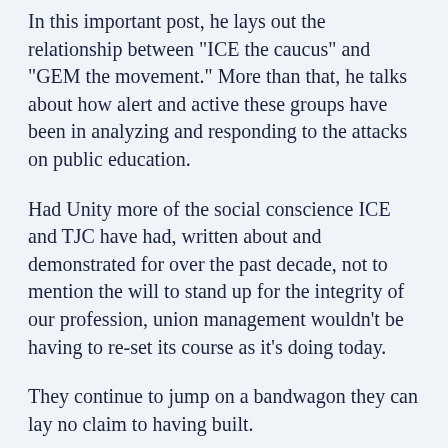In this important post, he lays out the relationship between "ICE the caucus" and "GEM the movement." More than that, he talks about how alert and active these groups have been in analyzing and responding to the attacks on public education.
Had Unity more of the social conscience ICE and TJC have had, written about and demonstrated for over the past decade, not to mention the will to stand up for the integrity of our profession, union management wouldn't be having to re-set its course as it's doing today.
They continue to jump on a bandwagon they can lay no claim to having built.